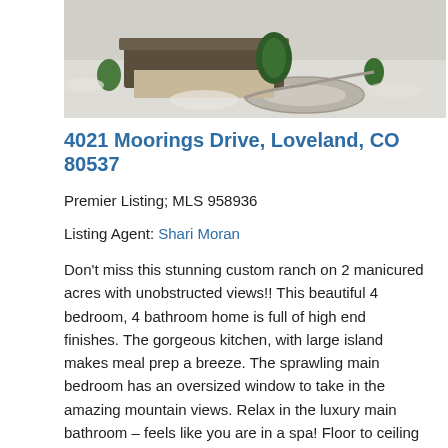[Figure (photo): Aerial/overhead view of a custom ranch home in winter with snow-covered ground, trees, and a circular driveway]
4021 Moorings Drive, Loveland, CO 80537
Premier Listing; MLS 958936
Listing Agent: Shari Moran
Don't miss this stunning custom ranch on 2 manicured acres with unobstructed views!! This beautiful 4 bedroom, 4 bathroom home is full of high end finishes. The gorgeous kitchen, with large island makes meal prep a breeze. The sprawling main bedroom has an oversized window to take in the amazing mountain views. Relax in the luxury main bathroom – feels like you are in a spa! Floor to ceiling fireplace in the great room is a beautiful piece, back dropped by the mountain views seen from almost every room in the house! There is a 3-car attached garage, in addition to the detached stucco and